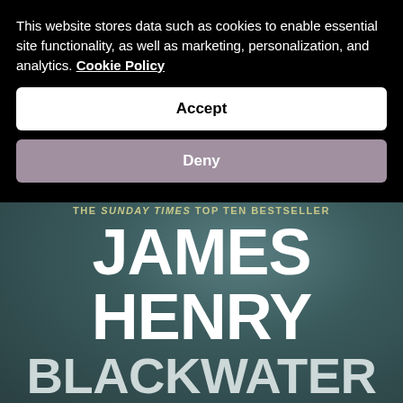This website stores data such as cookies to enable essential site functionality, as well as marketing, personalization, and analytics. Cookie Policy
Accept
Deny
[Figure (photo): Book cover of 'Blackwater' by James Henry, showing a dark teal/grey background with large white bold text. Subtitle reads 'THE SUNDAY TIMES TOP TEN BESTSELLER'. Author name JAMES HENRY in large white letters, book title BLACKWATER partially visible at the bottom.]